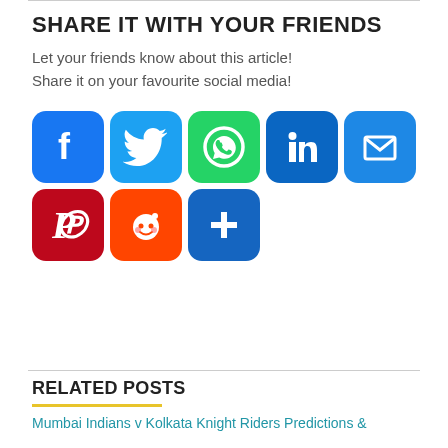SHARE IT WITH YOUR FRIENDS
Let your friends know about this article! Share it on your favourite social media!
[Figure (infographic): Social media sharing icons in a grid: Facebook, Twitter, WhatsApp, LinkedIn, Email (top row); Pinterest, Reddit, More/Plus (bottom row)]
RELATED POSTS
Mumbai Indians v Kolkata Knight Riders Predictions &